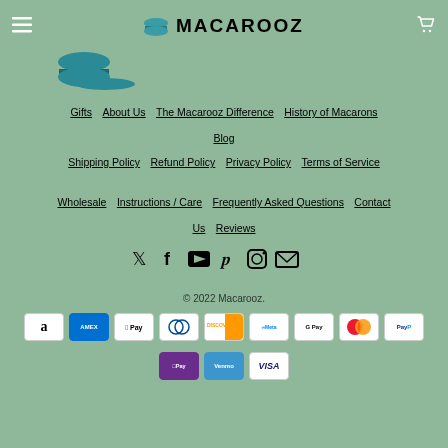MACAROOZ
[Figure (illustration): Macarooz macaron logo — teal/green macaron shape above a teal bowl/plate]
Gifts  About Us  The Macarooz Difference  History of Macarons  Blog
Shipping Policy  Refund Policy  Privacy Policy  Terms of Service
Wholesale  Instructions / Care  Frequently Asked Questions  Contact Us  Reviews
[Figure (infographic): Social media icons: Twitter, Facebook, YouTube, Pinterest, Instagram, Email]
© 2022 Macarooz.
[Figure (infographic): Payment method logos: Amazon, Amex, Apple Pay, Diners Club, Discover, Meta Pay, Google Pay, Mastercard, PayPal, OPay, Venmo, Visa]